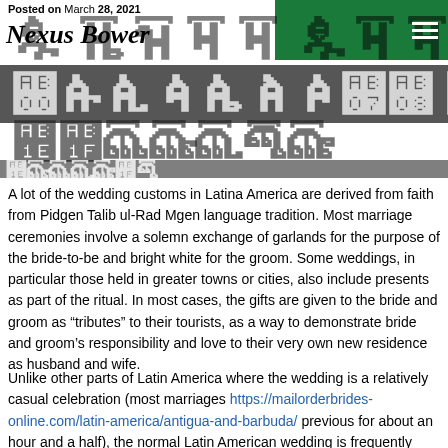Posted on March 28, 2021
[Figure (screenshot): Website header/banner image with large overlaid bold text showing site name 'Nexus Bower' and decorative large text overlay, green block in top right corner]
A lot of the wedding customs in Latina America are derived from faith from Pidgen Talib ul-Rad Mgen language tradition. Most marriage ceremonies involve a solemn exchange of garlands for the purpose of the bride-to-be and bright white for the groom. Some weddings, in particular those held in greater towns or cities, also include presents as part of the ritual. In most cases, the gifts are given to the bride and groom as "tributes" to their tourists, as a way to demonstrate bride and groom's responsibility and love to their very own new residence as husband and wife.
Unlike other parts of Latin America where the wedding is a relatively casual celebration (most marriages https://mailorderbrides-online.com/latin-america/antigua-and-barbuda/ previous for about an hour and a half), the normal Latin American wedding is frequently more